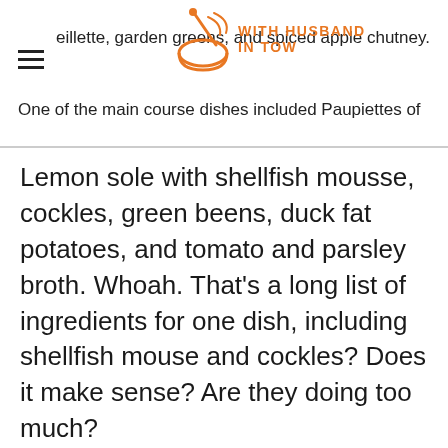eillette, garden greens, and spiced apple chutney. One of the main course dishes included Paupiettes of
Lemon sole with shellfish mousse, cockles, green beens, duck fat potatoes, and tomato and parsley broth. Whoah. That's a long list of ingredients for one dish, including shellfish mouse and cockles? Does it make sense? Are they doing too much?
Reader Favorites from With Husband In Tow